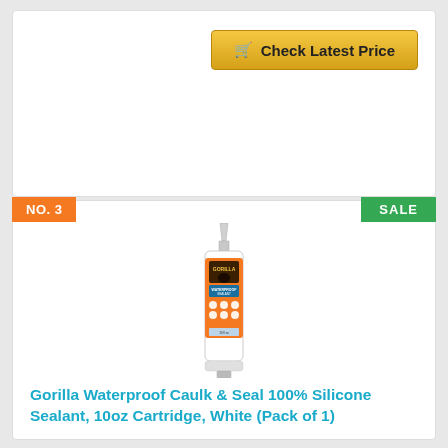[Figure (other): Check Latest Price button with shopping cart icon, gold/yellow gradient background]
NO. 3
SALE
[Figure (photo): Gorilla Waterproof Caulk & Seal silicone sealant tube/cartridge, white with orange label, upright position]
Gorilla Waterproof Caulk & Seal 100% Silicone Sealant, 10oz Cartridge, White (Pack of 1)